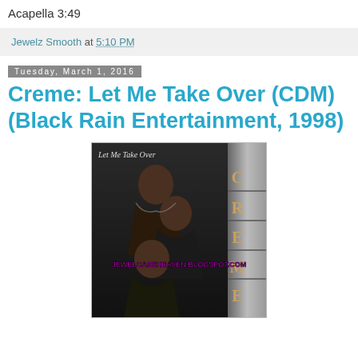Acapella 3:49
Jewelz Smooth at 5:10 PM
Tuesday, March 1, 2016
Creme: Let Me Take Over (CDM) (Black Rain Entertainment, 1998)
[Figure (photo): Album cover for Creme - Let Me Take Over (CDM), Black Rain Entertainment 1998. Dark background with three women, the word 'Let Me Take Over' in cursive at top left, and 'CREME' in large metallic letters vertically on the right side. Watermark reads JEWELCASEHEAVEN.BLOGSPOT.COM in magenta.]